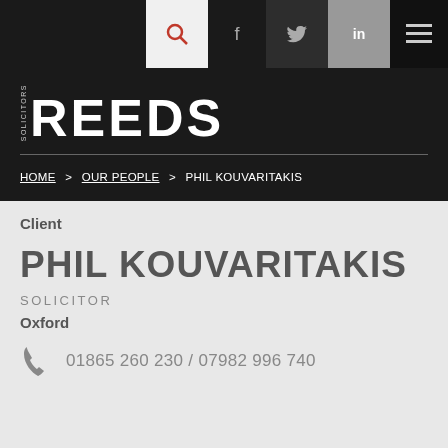[Figure (screenshot): Navigation bar with search, Facebook, Twitter, LinkedIn, and menu icons on dark background]
[Figure (logo): Reeds Solicitors logo in white text on dark background]
HOME > OUR PEOPLE > PHIL KOUVARITAKIS
Client
PHIL KOUVARITAKIS
SOLICITOR
Oxford
01865 260 230 / 07982 996 740